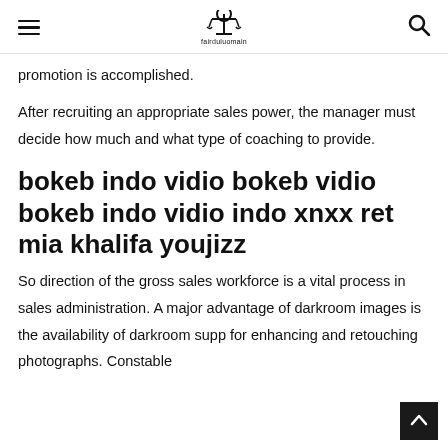[menu icon] [scale/law logo: fairduluomain] [search icon]
promotion is accomplished.
After recruiting an appropriate sales power, the manager must decide how much and what type of coaching to provide.
bokeb indo vidio bokeb vidio bokeb indo vidio indo xnxx ret mia khalifa youjizz
So direction of the gross sales workforce is a vital process in sales administration. A major advantage of darkroom images is the availability of darkroom supp for enhancing and retouching photographs. Constable